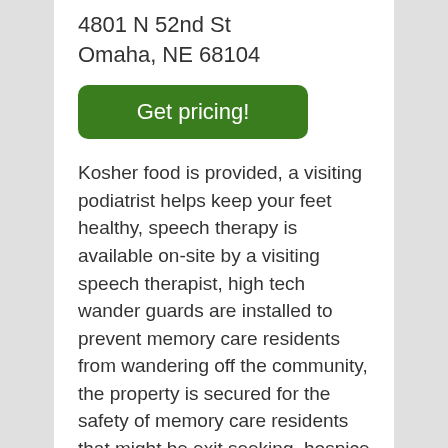4801 N 52nd St
Omaha, NE 68104
Get pricing!
Kosher food is provided, a visiting podiatrist helps keep your feet healthy, speech therapy is available on-site by a visiting speech therapist, high tech wander guards are installed to prevent memory care residents from wandering off the community, the property is secured for the safety of memory care residents that might be exit seeking, hospice is an option available at this location, and respite care is offered.